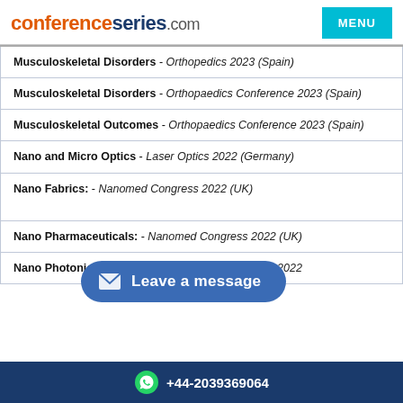conferenceseries.com
Musculoskeletal Disorders - Orthopedics 2023 (Spain)
Musculoskeletal Disorders - Orthopaedics Conference 2023 (Spain)
Musculoskeletal Outcomes - Orthopaedics Conference 2023 (Spain)
Nano and Micro Optics - Laser Optics 2022 (Germany)
Nano Fabrics: - Nanomed Congress 2022 (UK)
Nano Pharmaceuticals: - Nanomed Congress 2022 (UK)
Nano Photonics and Bio Photonics - Laser Optics 2022